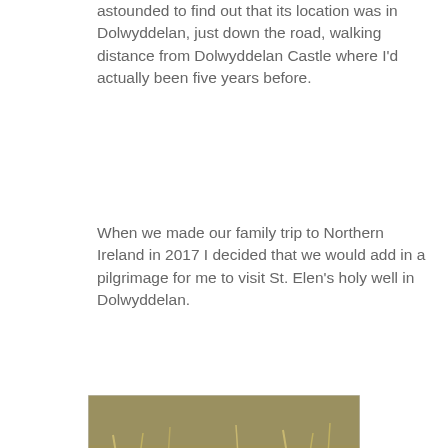astounded to find out that its location was in Dolwyddelan, just down the road, walking distance from Dolwyddelan Castle where I'd actually been five years before.
When we made our family trip to Northern Ireland in 2017 I decided that we would add in a pilgrimage for me to visit St. Elen's holy well in Dolwyddelan.
[Figure (photo): Outdoor photograph of a small holy well or spring surrounded by overgrown grass, weeds, moss, and stone slabs, with natural vegetation in the background.]